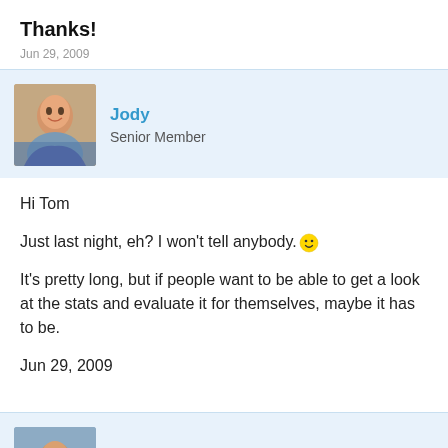Thanks!
Jun 29, 2009
Jody
Senior Member
Hi Tom
Just last night, eh? I won't tell anybody. 😊
It's pretty long, but if people want to be able to get a look at the stats and evaluate it for themselves, maybe it has to be.
Jun 29, 2009
Cort
Phoenix Rising Founder